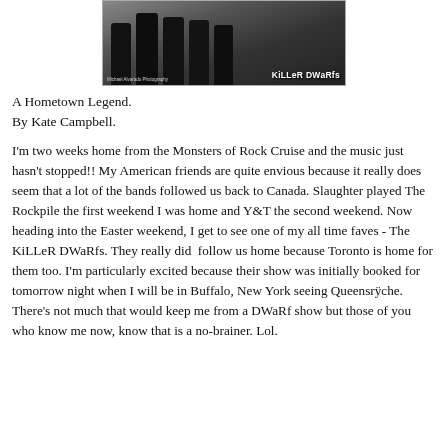[Figure (photo): Black and white photograph of the band Killer Dwarfs, showing several band members standing together, with the KiLLeR DWaRfs logo visible in the lower right corner of the image.]
A Hometown Legend.
By Kate Campbell.
I'm two weeks home from the Monsters of Rock Cruise and the music just hasn't stopped!! My American friends are quite envious because it really does seem that a lot of the bands followed us back to Canada. Slaughter played The Rockpile the first weekend I was home and Y&T the second weekend. Now heading into the Easter weekend, I get to see one of my all time faves - The KiLLeR DWaRfs. They really did  follow us home because Toronto is home for them too. I'm particularly excited because their show was initially booked for tomorrow night when I will be in Buffalo, New York seeing Queensrÿche. There's not much that would keep me from a DWaRf show but those of you who know me now, know that is a no-brainer. Lol.